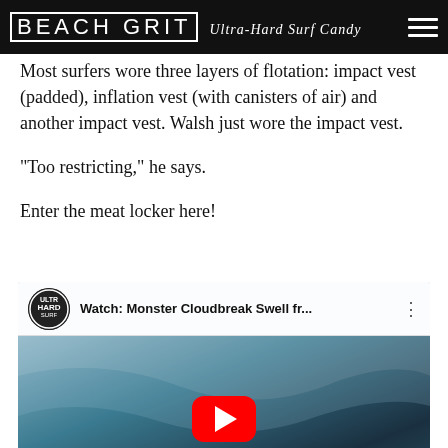BEACH GRIT Ultra-Hard Surf Candy
Most surfers wore three layers of flotation: impact vest (padded), inflation vest (with canisters of air) and another impact vest. Walsh just wore the impact vest.
“Too restricting,” he says.
Enter the meat locker here!
[Figure (screenshot): Embedded YouTube video player showing 'Watch: Monster Cloudbreak Swell fr...' with a play button over an ocean wave background. A circular Ultra Hard Surf logo is shown in the top left of the video bar.]